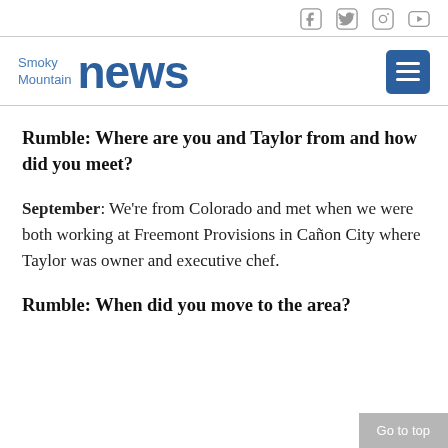Social media icons: Facebook, Twitter, Instagram, YouTube
[Figure (logo): Smoky Mountain News logo with social media icons and hamburger menu button]
Rumble: Where are you and Taylor from and how did you meet?
September: We're from Colorado and met when we were both working at Freemont Provisions in Cañon City where Taylor was owner and executive chef.
Rumble: When did you move to the area?